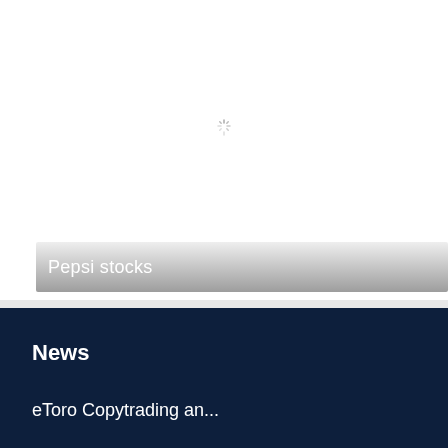[Figure (screenshot): Loading spinner icon (circular dashed spinner) on white background, center of upper section]
Pepsi stocks
News
eToro Copytrading an...